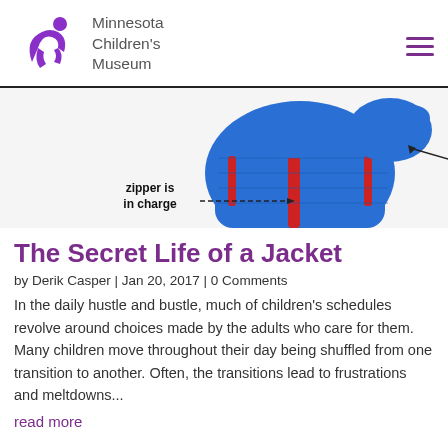[Figure (logo): Minnesota Children's Museum logo with purple figure and hamburger menu icon]
[Figure (photo): Blue children's puffer jacket with red trim and mittens, annotated with handwritten-style labels: 'zipper is in charge' and 'pocket is pull op']
The Secret Life of a Jacket
by Derik Casper | Jan 20, 2017 | 0 Comments
In the daily hustle and bustle, much of children's schedules revolve around choices made by the adults who care for them. Many children move throughout their day being shuffled from one transition to another. Often, the transitions lead to frustrations and meltdowns...
read more